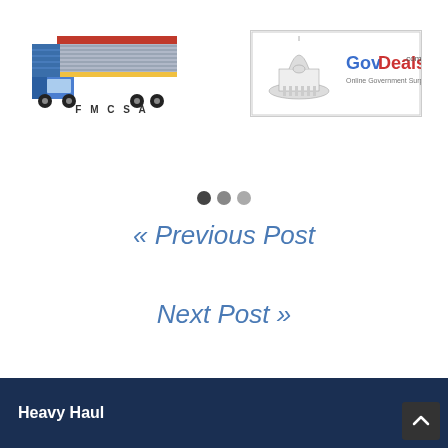[Figure (logo): FMCSA - Federal Motor Carrier Safety Administration logo with truck and trailer image]
[Figure (logo): GovDeals.com - Online Government Surplus Auction logo with capitol dome]
[Figure (other): Three navigation dots: filled dark, medium gray, light gray]
« Previous Post
Next Post »
Heavy Haul